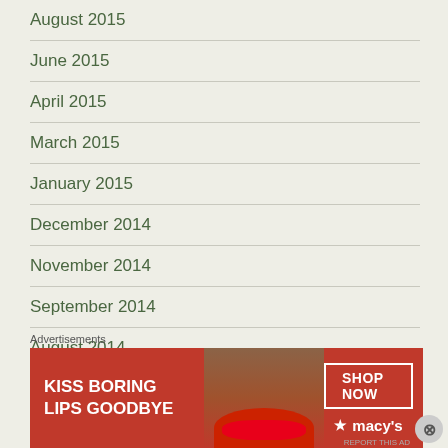August 2015
June 2015
April 2015
March 2015
January 2015
December 2014
November 2014
September 2014
August 2014
July 2014
June 2014
May 2014
Advertisements
[Figure (photo): Macy's advertisement banner: 'KISS BORING LIPS GOODBYE' with a woman's face and red lips, SHOP NOW button and Macy's logo]